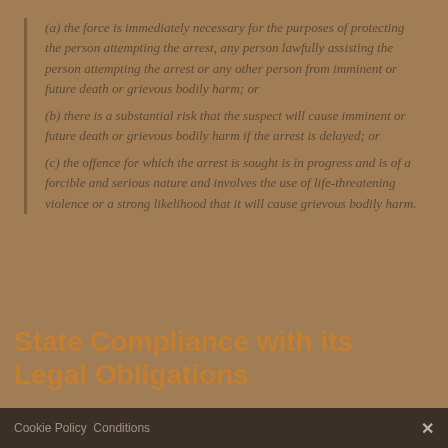(a) the force is immediately necessary for the purposes of protecting the person attempting the arrest, any person lawfully assisting the person attempting the arrest or any other person from imminent or future death or grievous bodily harm; or
(b) there is a substantial risk that the suspect will cause imminent or future death or grievous bodily harm if the arrest is delayed; or
(c) the offence for which the arrest is sought is in progress and is of a forcible and serious nature and involves the use of life-threatening violence or a strong likelihood that it will cause grievous bodily harm.
State Compliance with its Legal Obligations
Cookie Policy  Conditions  ...